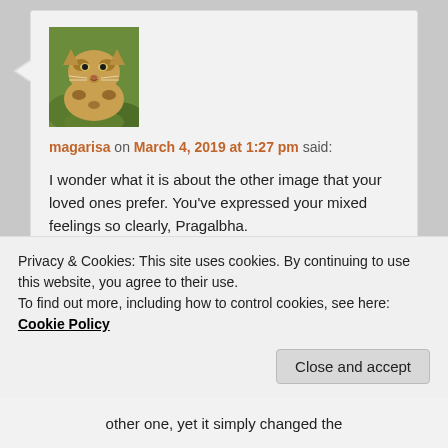[Figure (photo): Clouded leopard avatar image in a green grassy setting]
magarisa on March 4, 2019 at 1:27 pm said:
I wonder what it is about the other image that your loved ones prefer. You've expressed your mixed feelings so clearly, Pragalbha.
Liked by 1 person
Reply ↓
Privacy & Cookies: This site uses cookies. By continuing to use this website, you agree to their use.
To find out more, including how to control cookies, see here: Cookie Policy
Close and accept
other one, yet it simply changed the